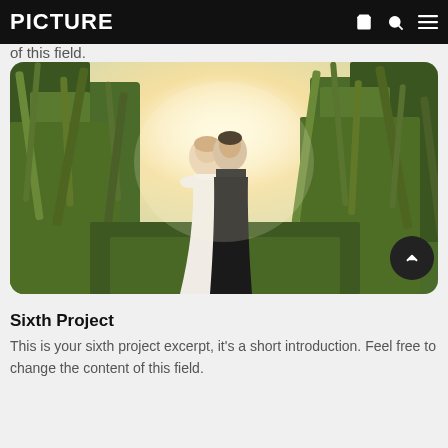PICTURE
of this field.
[Figure (photo): A couple sharing a romantic moment in a field of tall grass, backlit by golden sunlight. The woman wears a white dress and the man wears dark clothing.]
Sixth Project
This is your sixth project excerpt, it's a short introduction. Feel free to change the content of this field.